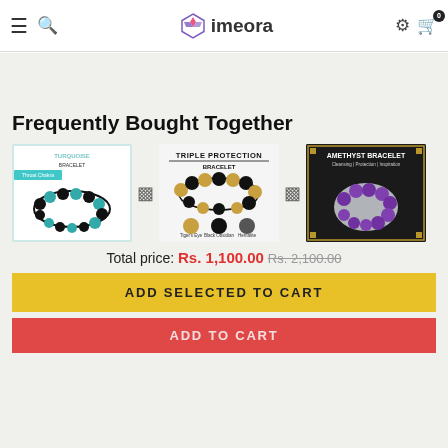imeora
Frequently Bought Together
[Figure (photo): Three bracelet product images: Turquoise Bracelet (Throat Chakra), Triple Protection Bracelet (Tiger's Eye, Black Obsidian, Hematite), Amethyst Bracelet]
Total price: Rs. 1,100.00  Rs. 2,100.00
ADD SELECTED TO CART
ADD TO CART